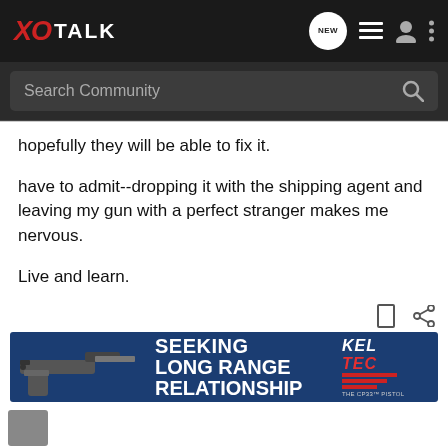XO TALK - navigation bar with search
hopefully they will be able to fix it.
have to admit--dropping it with the shipping agent and leaving my gun with a perfect stranger makes me nervous.
Live and learn.
I guess this is what is termed a "self correcting error"--I have been kicking myself, SO that the NEXT time I actually pay a lot closer attention to what I am doing....
[Figure (photo): Advertisement banner for Kel-Tec CP33 pistol with text SEEKING LONG RANGE RELATIONSHIP and gun image on dark blue background]